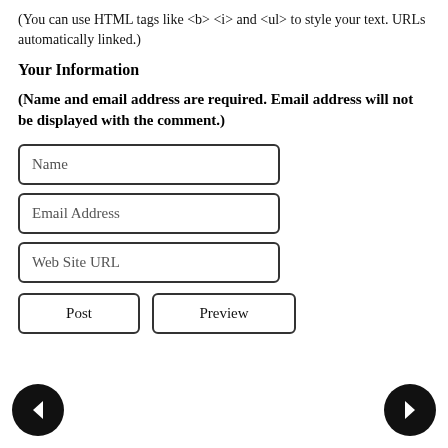(You can use HTML tags like <b> <i> and <ul> to style your text. URLs automatically linked.)
Your Information
(Name and email address are required. Email address will not be displayed with the comment.)
[Figure (screenshot): Web form with three input fields labeled Name, Email Address, Web Site URL, and two buttons labeled Post and Preview]
[Figure (infographic): Left navigation arrow button (black circle with white left arrow)]
[Figure (infographic): Right navigation arrow button (black circle with white right arrow)]